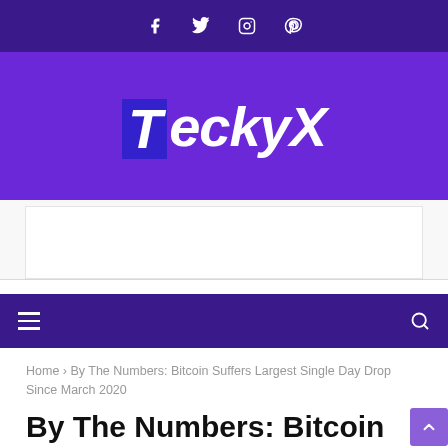Social icons: Facebook, Twitter, Instagram, Pinterest
[Figure (logo): TeckyX website logo with large italic bold white text on purple background]
[Figure (other): Advertisement banner area (white rectangle)]
Navigation bar with hamburger menu and search icon
Home > By The Numbers: Bitcoin Suffers Largest Single Day Drop Since March 2020
By The Numbers: Bitcoin Suffers Largest Single Day Drop Since March 2020